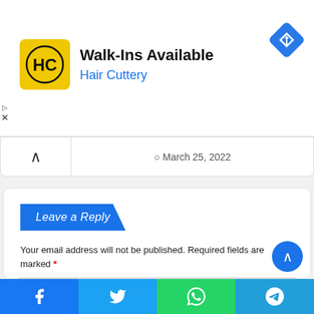[Figure (screenshot): Hair Cuttery advertisement banner with yellow/black HC logo, title 'Walk-Ins Available', subtitle 'Hair Cuttery' in blue, and a blue diamond navigation icon top right]
March 25, 2022
Leave a Reply
Your email address will not be published. Required fields are marked *